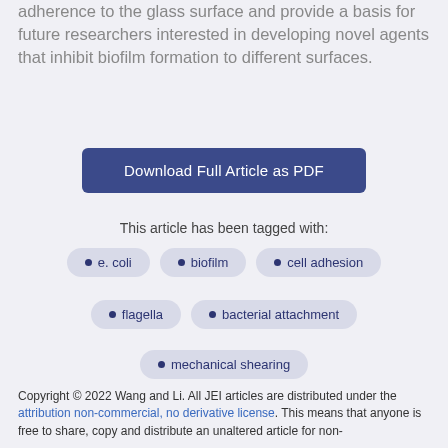adherence to the glass surface and provide a basis for future researchers interested in developing novel agents that inhibit biofilm formation to different surfaces.
Download Full Article as PDF
This article has been tagged with:
e. coli
biofilm
cell adhesion
flagella
bacterial attachment
mechanical shearing
Copyright © 2022 Wang and Li. All JEI articles are distributed under the attribution non-commercial, no derivative license. This means that anyone is free to share, copy and distribute an unaltered article for non-